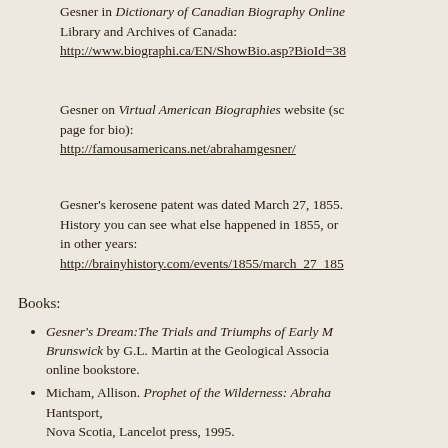Gesner in Dictionary of Canadian Biography Online Library and Archives of Canada: http://www.biographi.ca/EN/ShowBio.asp?BioId=38
Gesner on Virtual American Biographies website (scroll page for bio): http://famousamericans.net/abrahamgesner/
Gesner's kerosene patent was dated March 27, 1855. At Brainy History you can see what else happened in 1855, or in other years: http://brainyhistory.com/events/1855/march_27_185
Books:
Gesner's Dream: The Trials and Triumphs of Early M... Brunswick by G.L. Martin at the Geological Associa... online bookstore.
Micham, Allison. Prophet of the Wilderness: Abraha... Hantsport, Nova Scotia, Lancelot press, 1995.
Barkhouse, Joyce. Abraham Gesner. Toronto. Fitzhe... 1980.
Beaton, Kendall. Dr. Gesner's kerosene: the start of refining business. Business history review. New Yo...